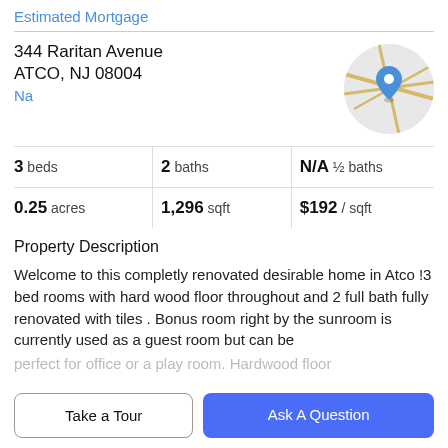Estimated Mortgage
344 Raritan Avenue
ATCO, NJ 08004
Na
[Figure (map): Circular map thumbnail showing street map with a blue location pin marker in the center.]
| 3 beds | 2 baths | N/A ½ baths |
| 0.25 acres | 1,296 sqft | $192 / sqft |
Property Description
Welcome to this completly renovated desirable home in Atco !3 bed rooms with hard wood floor throughout and 2 full bath fully renovated with tiles . Bonus room right by the sunroom is currently used as a guest room but can be
perfect for office or a play room. Hardwood floor
Take a Tour
Ask A Question